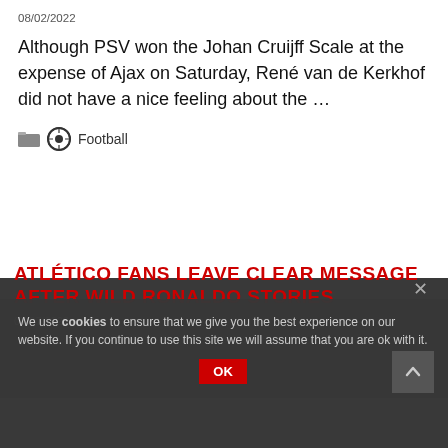08/02/2022
Although PSV won the Johan Cruijff Scale at the expense of Ajax on Saturday, René van de Kerkhof did not have a nice feeling about the …
⊙ Football
ATLÉTICO FANS LEAVE CLEAR MESSAGE AFTER WILD RONALDO STORIES
07/27/2022
We use cookies to ensure that we give you the best experience on our website. If you continue to use this site we will assume that you are ok with it.